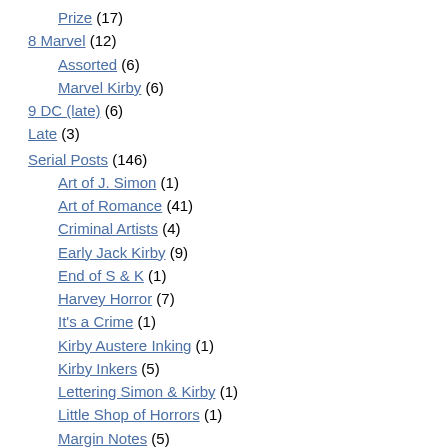Prize (17)
8 Marvel (12)
Assorted (6)
Marvel Kirby (6)
9 DC (late) (6)
Late (3)
Serial Posts (146)
Art of J. Simon (1)
Art of Romance (41)
Criminal Artists (4)
Early Jack Kirby (9)
End of S & K (1)
Harvey Horror (7)
It's a Crime (1)
Kirby Austere Inking (1)
Kirby Inkers (5)
Lettering Simon & Kirby (1)
Little Shop of Horrors (1)
Margin Notes (5)